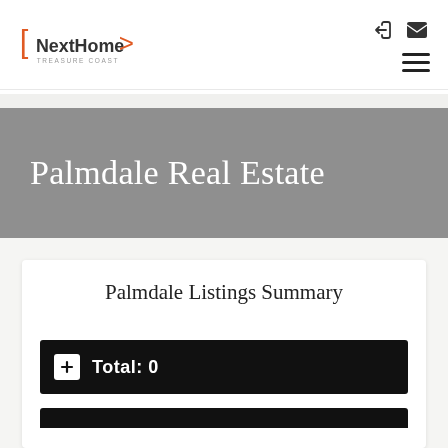NextHome Treasure Coast
Palmdale Real Estate
Palmdale Listings Summary
Total: 0